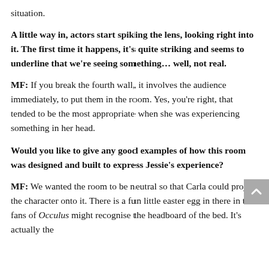situation.
A little way in, actors start spiking the lens, looking right into it. The first time it happens, it's quite striking and seems to underline that we're seeing something… well, not real.
MF: If you break the fourth wall, it involves the audience immediately, to put them in the room. Yes, you're right, that tended to be the most appropriate when she was experiencing something in her head.
Would you like to give any good examples of how this room was designed and built to express Jessie's experience?
MF: We wanted the room to be neutral so that Carla could project the character onto it. There is a fun little easter egg in there in that fans of Occulus might recognise the headboard of the bed. It's actually the